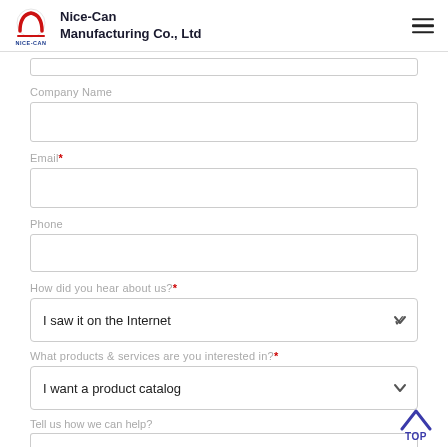Nice-Can Manufacturing Co., Ltd
Company Name
Email*
Phone
How did you hear about us?*
I saw it on the Internet
What products & services are you interested in?*
I want a product catalog
Tell us how we can help?